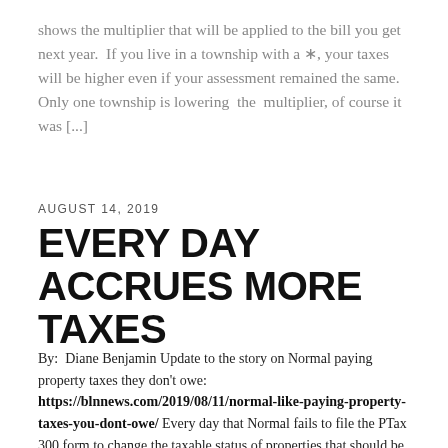shows the multiplier that will be applied to the bill you get next year.  If you live in a township with a *, your taxes will be higher even if your assessment remained the same.  Only one township is lowering  the  multiplier, of course it was [...]
AUGUST 14, 2019
EVERY DAY ACCRUES MORE TAXES
By:  Diane Benjamin Update to the story on Normal paying property taxes they don't owe: https://blnnews.com/2019/08/11/normal-like-paying-property-taxes-you-dont-owe/ Every day that Normal fails to file the PTax 300 form to change the taxable status of properties that should be exempt means more taxes.  Normal will get billed next year